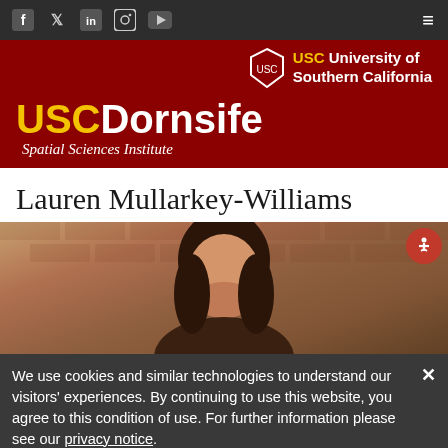Navigation bar with social icons (Facebook, Twitter, LinkedIn, Instagram, YouTube) and hamburger menu
[Figure (logo): USC University of Southern California logo with shield icon on dark red header background]
[Figure (logo): USC Dornsife Spatial Sciences Institute brand logo in gold and white on dark red background]
Lauren Mullarkey-Williams
[Figure (photo): Photo of Lauren Mullarkey-Williams, a woman with dark hair, smiling in front of a brick wall background]
We use cookies and similar technologies to understand our visitors’ experiences. By continuing to use this website, you agree to this condition of use. For further information please see our privacy notice.